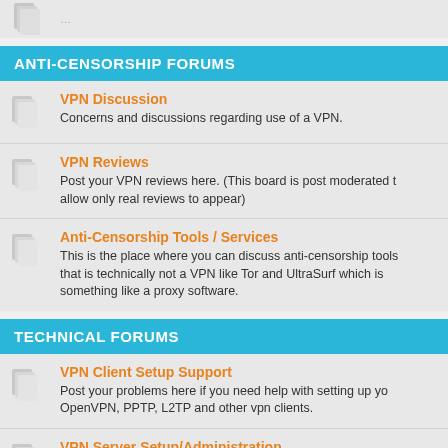ANTI-CENSORSHIP FORUMS
VPN Discussion
Concerns and discussions regarding use of a VPN.
VPN Reviews
Post your VPN reviews here. (This board is post moderated to allow only real reviews to appear)
Anti-Censorship Tools / Services
This is the place where you can discuss anti-censorship tools that is technically not a VPN like Tor and UltraSurf which is something like a proxy software.
TECHNICAL FORUMS
VPN Client Setup Support
Post your problems here if you need help with setting up your OpenVPN, PPTP, L2TP and other vpn clients.
VPN Server Setup/Administration
Post your inquiries and questions in setting up your own vpn server.